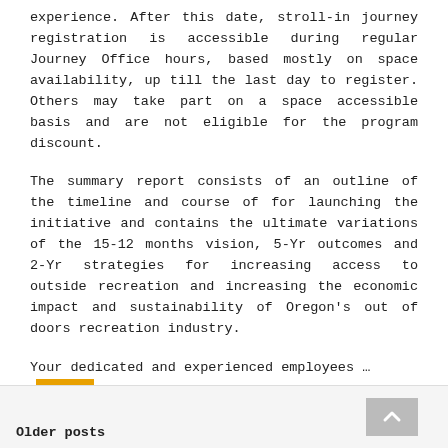experience. After this date, stroll-in journey registration is accessible during regular Journey Office hours, based mostly on space availability, up till the last day to register. Others may take part on a space accessible basis and are not eligible for the program discount.
The summary report consists of an outline of the timeline and course of for launching the initiative and contains the ultimate variations of the 15-12 months vision, 5-Yr outcomes and 2-Yr strategies for increasing access to outside recreation and increasing the economic impact and sustainability of Oregon's out of doors recreation industry.
Your dedicated and experienced employees … Read More
Posted in Vacation Deals  Tagged lower
Older posts